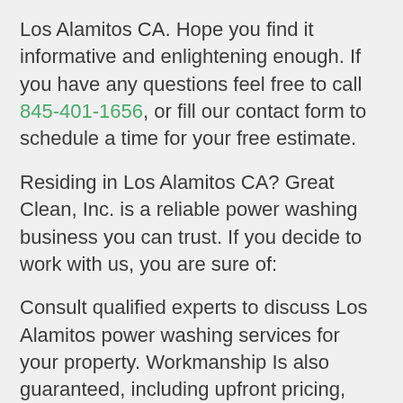Los Alamitos CA. Hope you find it informative and enlightening enough. If you have any questions feel free to call 845-401-1656, or fill our contact form to schedule a time for your free estimate.
Residing in Los Alamitos CA? Great Clean, Inc. is a reliable power washing business you can trust. If you decide to work with us, you are sure of:
Consult qualified experts to discuss Los Alamitos power washing services for your property. Workmanship Is also guaranteed, including upfront pricing, service on your schedule, and special offers. You can go through the rest of our site to see which of